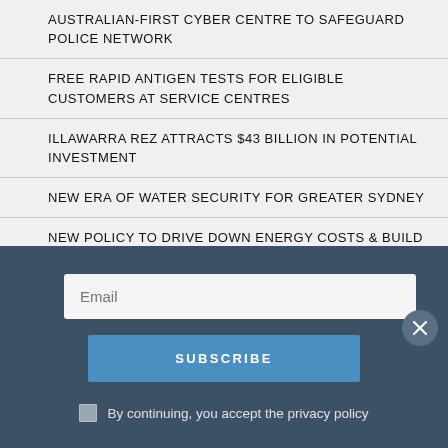AUSTRALIAN-FIRST CYBER CENTRE TO SAFEGUARD POLICE NETWORK
FREE RAPID ANTIGEN TESTS FOR ELIGIBLE CUSTOMERS AT SERVICE CENTRES
ILLAWARRA REZ ATTRACTS $43 BILLION IN POTENTIAL INVESTMENT
NEW ERA OF WATER SECURITY FOR GREATER SYDNEY
NEW POLICY TO DRIVE DOWN ENERGY COSTS & BUILD BETTER HOMES
NSW GOVERNMENT STATEMENT ON NEW DEED
Email
SUBSCRIBE
By continuing, you accept the privacy policy